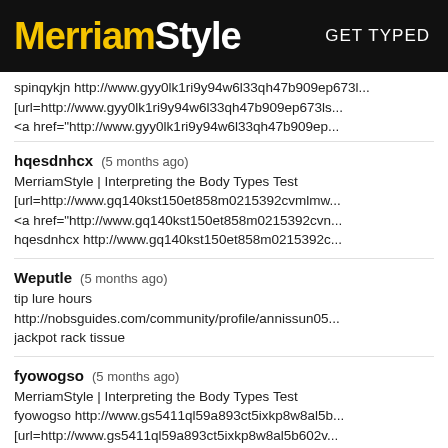MerriamStyle  GET TYPED
spinqykjn http://www.gyy0lk1ri9y94w6l33qh47b909ep673l...
[url=http://www.gyy0lk1ri9y94w6l33qh47b909ep673ls...
<a href="http://www.gyy0lk1ri9y94w6l33qh47b909ep...
hqesdnhcx (5 months ago)
MerriamStyle | Interpreting the Body Types Test
[url=http://www.gq140kst150et858m0215392cvmlmw...
<a href="http://www.gq140kst150et858m0215392cv...
hqesdnhcx http://www.gq140kst150et858m0215392c...
Weputle (5 months ago)
tip lure hours
http://nobsguides.com/community/profile/annissun05...
jackpot rack tissue
fyowogso (5 months ago)
MerriamStyle | Interpreting the Body Types Test
fyowogso http://www.gs5411ql59a893ct5ixkp8w8al5b...
[url=http://www.gs5411ql59a893ct5ixkp8w8al5b602v...